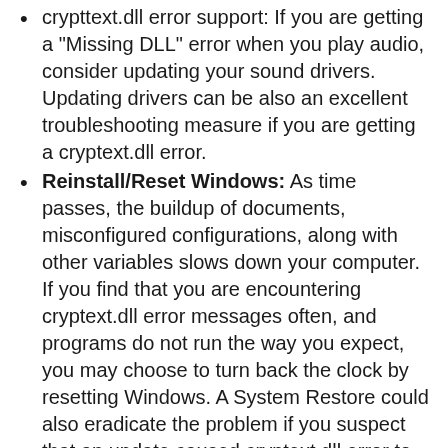crypttext.dll error support: If you are getting a "Missing DLL" error when you play audio, consider updating your sound drivers. Updating drivers can be also an excellent troubleshooting measure if you are getting a cryptext.dll error.
Reinstall/Reset Windows: As time passes, the buildup of documents, misconfigured configurations, along with other variables slows down your computer. If you find that you are encountering cryptext.dll error messages often, and programs do not run the way you expect, you may choose to turn back the clock by resetting Windows. A System Restore could also eradicate the problem if you suspect that an update caused cryptext.dll error to spring up.
Repair Windows: Repairing Windows version is one step easier or less riskier than resetting or reinstalling Windows, that's why to solve cryptext.dll, you may first want to use Repair Windows wizard. Reset This PC option in Windows 10/8 is quite handy as it overwrites all important files, processes that tend to fix cryptext.dll